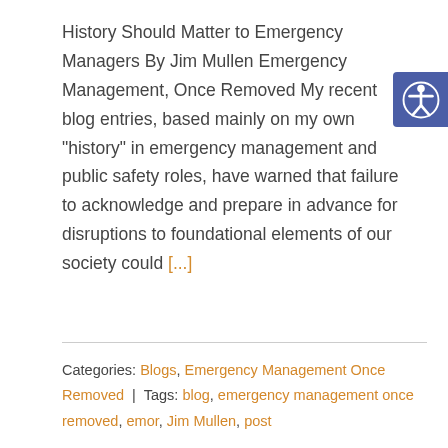History Should Matter to Emergency Managers By Jim Mullen Emergency Management, Once Removed My recent blog entries, based mainly on my own "history" in emergency management and public safety roles, have warned that failure to acknowledge and prepare in advance for disruptions to foundational elements of our society could [...]
Categories: Blogs, Emergency Management Once Removed | Tags: blog, emergency management once removed, emor, Jim Mullen, post